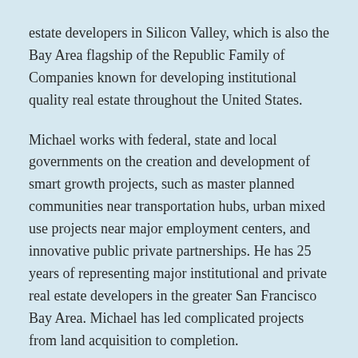estate developers in Silicon Valley, which is also the Bay Area flagship of the Republic Family of Companies known for developing institutional quality real estate throughout the United States.
Michael works with federal, state and local governments on the creation and development of smart growth projects, such as master planned communities near transportation hubs, urban mixed use projects near major employment centers, and innovative public private partnerships. He has 25 years of representing major institutional and private real estate developers in the greater San Francisco Bay Area. Michael has led complicated projects from land acquisition to completion.
Under his leadership RUP has gained national